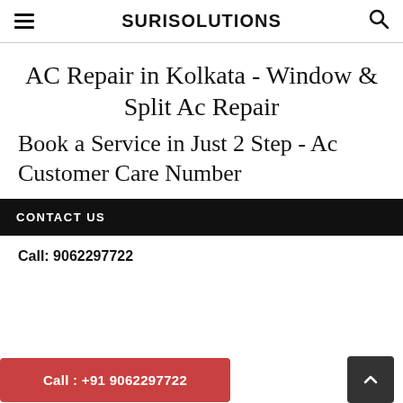SURISOLUTIONS
AC Repair in Kolkata - Window & Split Ac Repair
Book a Service in Just 2 Step - Ac Customer Care Number
CONTACT US
Call: 9062297722
Call : +91 9062297722